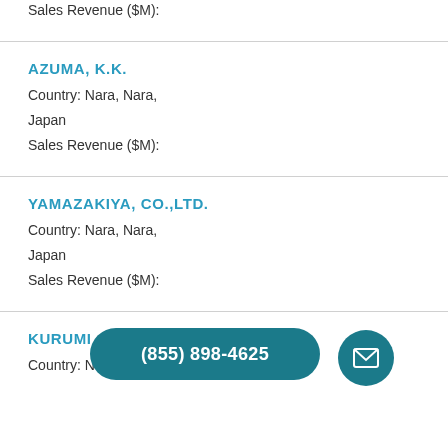Sales Revenue ($M):
AZUMA, K.K.
Country: Nara, Nara,
Japan
Sales Revenue ($M):
YAMAZAKIYA, CO.,LTD.
Country: Nara, Nara,
Japan
Sales Revenue ($M):
KURUMI...
Country: Nara, Nara,